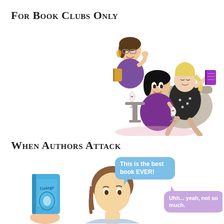For Book Clubs Only
[Figure (illustration): Cartoon illustration of three women at a book club meeting, holding books and wine glasses, one seated in a beige armchair.]
When Authors Attack
[Figure (illustration): Illustration of a person holding a blue book and an animated male character with speech bubbles: 'This is the best book EVER!' (blue bubble) and 'Uhh... yeah, not so much.' (purple bubble).]